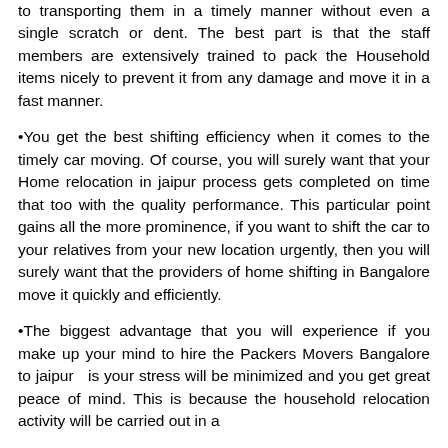to transporting them in a timely manner without even a single scratch or dent. The best part is that the staff members are extensively trained to pack the Household items nicely to prevent it from any damage and move it in a fast manner.
•You get the best shifting efficiency when it comes to the timely car moving. Of course, you will surely want that your Home relocation in jaipur process gets completed on time that too with the quality performance. This particular point gains all the more prominence, if you want to shift the car to your relatives from your new location urgently, then you will surely want that the providers of home shifting in Bangalore move it quickly and efficiently.
•The biggest advantage that you will experience if you make up your mind to hire the Packers Movers Bangalore to jaipur  is your stress will be minimized and you get great peace of mind. This is because the household relocation activity will be carried out in a